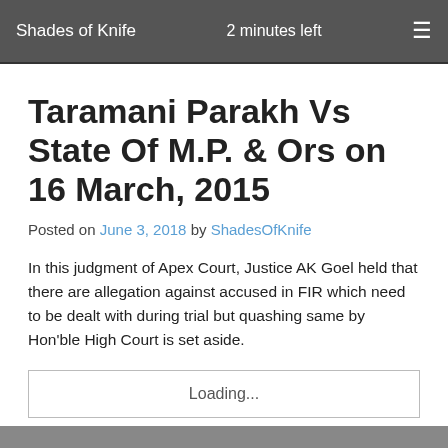Shades of Knife   2 minutes left
Taramani Parakh Vs State Of M.P. & Ors on 16 March, 2015
Posted on June 3, 2018 by ShadesOfKnife
In this judgment of Apex Court, Justice AK Goel held that there are allegation against accused in FIR which need to be dealt with during trial but quashing same by Hon'ble High Court is set aside.
Loading...